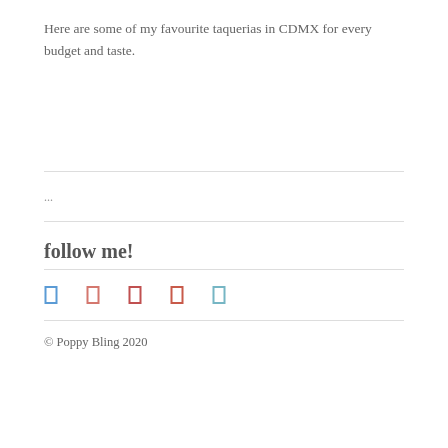Here are some of my favourite taquerias in CDMX for every budget and taste.
...
follow me!
[Figure (other): Five small social media icon rectangles in a row: blue, pink, red, red-orange, teal]
© Poppy Bling 2020